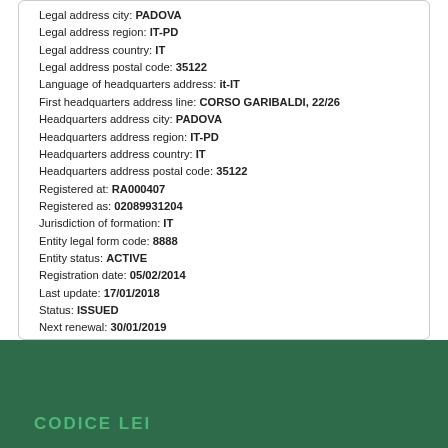Legal address city: PADOVA
Legal address region: IT-PD
Legal address country: IT
Legal address postal code: 35122
Language of headquarters address: it-IT
First headquarters address line: CORSO GARIBALDI, 22/26
Headquarters address city: PADOVA
Headquarters address region: IT-PD
Headquarters address country: IT
Headquarters address postal code: 35122
Registered at: RA000407
Registered as: 02089931204
Jurisdiction of formation: IT
Entity legal form code: 8888
Entity status: ACTIVE
Registration date: 05/02/2014
Last update: 17/01/2018
Status: ISSUED
Next renewal: 30/01/2019
Lei issuer: 815600EAD78C57FCE690
Corroboration level: FULLY_CORROBORATED
Data validated at (id): RA000407
Data validated as: 02089931204
CODICE LEI